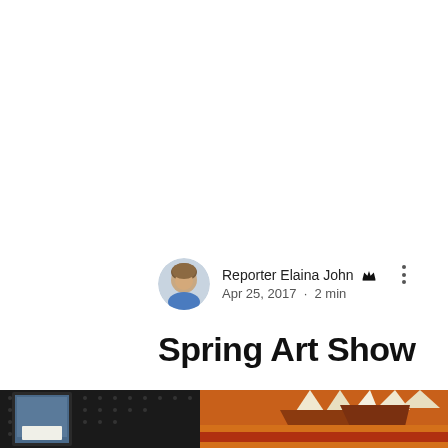Reporter Elaina John [admin] · Apr 25, 2017 · 2 min
Spring Art Show
[Figure (photo): Bottom portion of a Spring Art Show display showing framed artwork on a black dotted pegboard wall and a colorful Native American headdress painting in orange, red, brown and white tones.]